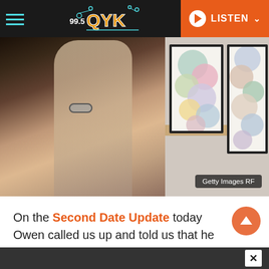99.5 QYK — LISTEN
[Figure (photo): Two people at an art gallery or museum, one person has arm around the other's shoulder, looking at colorful abstract artwork on the wall. Photo credit: Getty Images RF]
On the Second Date Update today Owen called us up and told us that he met Tara online and he wanted to surprise her with a date along the Riverwalk and a trip to the Tampa Museum